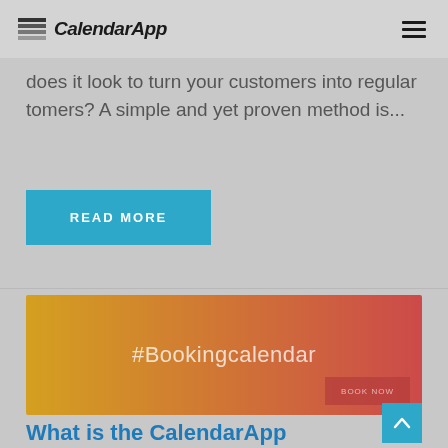CalendarApp
does it look to turn your customers into regular tomers? A simple and yet proven method is...
READ MORE
[Figure (illustration): Gradient banner image from gold/yellow on left to red/pink on right, with large light text '#Bookingcalendar' centered, and a semi-transparent dark red box in lower right corner]
What is the CalendarApp